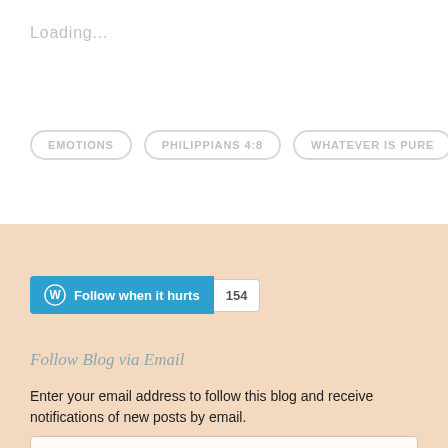Loading...
EMOTIONS   PHILIPPIANS 4:8   WHATEVER IS PURE
[Figure (screenshot): WordPress Follow button with 'Follow when it hurts' text and follower count of 154]
Follow Blog via Email
Enter your email address to follow this blog and receive notifications of new posts by email.
Email Address